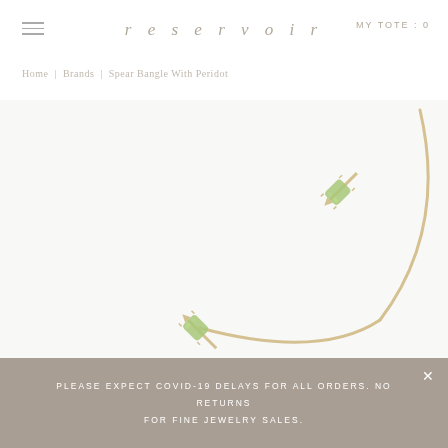reservoir | MY TOTE : 0
Home | Brands | Spear Bangle With Peridot
[Figure (photo): Gold open bangle bracelet with two peridot gemstones set in spear-tip prong settings, shown against a white background. The bangle has an open cuff design with spear-shaped gold tips holding oval light green peridot stones.]
PLEASE EXPECT COVID-19 DELAYS FOR ALL ORDERS. NO RETURNS FOR FINE JEWELRY SALES.